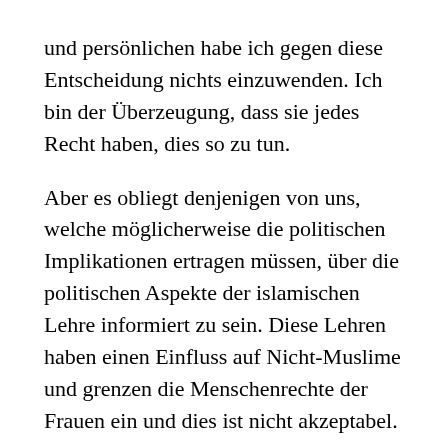und persönlichen habe ich gegen diese Entscheidung nichts einzuwenden. Ich bin der Überzeugung, dass sie jedes Recht haben, dies so zu tun. Aber es obliegt denjenigen von uns, welche möglicherweise die politischen Implikationen ertragen müssen, über die politischen Aspekte der islamischen Lehre informiert zu sein. Diese Lehren haben einen Einfluss auf Nicht-Muslime und grenzen die Menschenrechte der Frauen ein und dies ist nicht akzeptabel. Im Moment, an vielen Orten innerhalb der freien Welt, gibt es muslimische Frauen, welche nicht ihre vollen